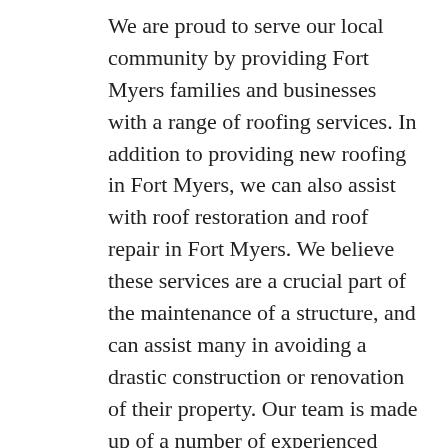We are proud to serve our local community by providing Fort Myers families and businesses with a range of roofing services. In addition to providing new roofing in Fort Myers, we can also assist with roof restoration and roof repair in Fort Myers. We believe these services are a crucial part of the maintenance of a structure, and can assist many in avoiding a drastic construction or renovation of their property. Our team is made up of a number of experienced roofers who live in the Fort Myers area. We have worked with countless clients over the years, and are sure we can help you, as well!
Our products and services keep your most significant investment safe while increasing